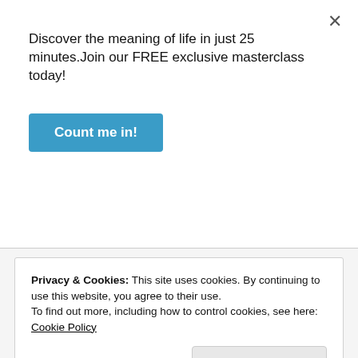Discover the meaning of life in just 25 minutes.Join our FREE exclusive masterclass today!
Count me in!
With this in mind, we can see that Jephthah’s keeping of his vow is an act of faith! He was willing to give up the hope of having grandchildren and perpetuate his lineage and endure the social stigma of having no descendants. All these for the sake of obeying God’s commandments.
Privacy & Cookies: This site uses cookies. By continuing to use this website, you agree to their use.
To find out more, including how to control cookies, see here: Cookie Policy
Close and accept
included him in the faith chapter.